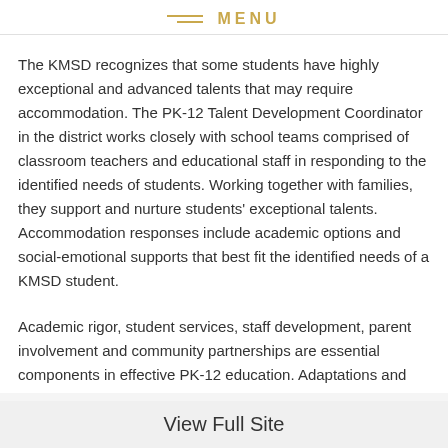MENU
The KMSD recognizes that some students have highly exceptional and advanced talents that may require accommodation. The PK-12 Talent Development Coordinator in the district works closely with school teams comprised of classroom teachers and educational staff in responding to the identified needs of students. Working together with families, they support and nurture students' exceptional talents. Accommodation responses include academic options and social-emotional supports that best fit the identified needs of a KMSD student.
Academic rigor, student services, staff development, parent involvement and community partnerships are essential components in effective PK-12 education. Adaptations and modifications to curriculum and instruction help the district systematically reach and teach all students during their
View Full Site